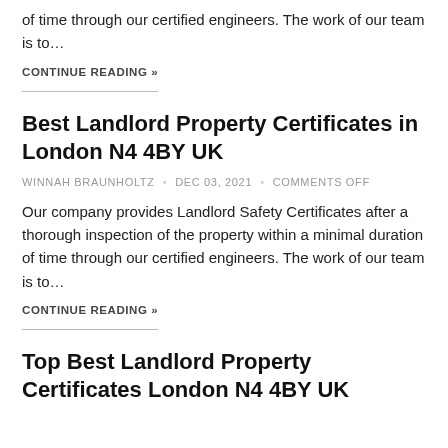of time through our certified engineers. The work of our team is to…
CONTINUE READING »
Best Landlord Property Certificates in London N4 4BY UK
WINNAH BRAUNHOLTZ • DEC 03, 2021 • COMMENTS OFF
Our company provides Landlord Safety Certificates after a thorough inspection of the property within a minimal duration of time through our certified engineers. The work of our team is to…
CONTINUE READING »
Top Best Landlord Property Certificates London N4 4BY UK